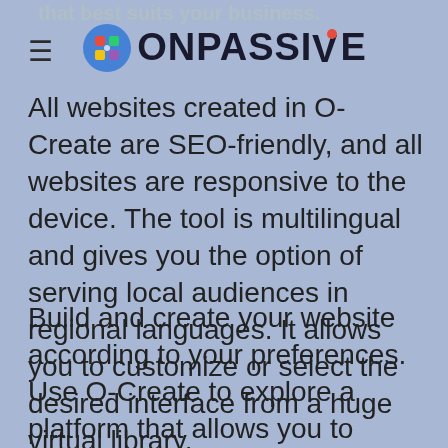that best suits your business.
All websites created in O-Create are SEO-friendly, and all websites are responsive to the device. The tool is multilingual and gives you the option of serving local audiences in regional languages. It allows you to customize or select the desired interface from a huge virtual library.
Build and create your website according to your preferences. Use O-Create to explore a platform that allows you to design, build, and develop your website exactly the way you dream of.